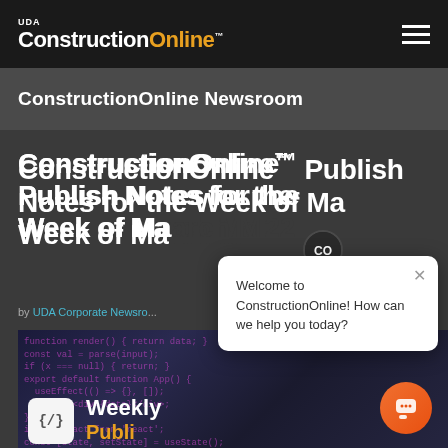UDA ConstructionOnline™
ConstructionOnline Newsroom
ConstructionOnline™ Publish Notes for the Week of March Ma...
by UDA Corporate Newsro...
[Figure (screenshot): Article thumbnail image showing code/programming text background with a white icon box containing '</>' code symbol and 'Weekly Publish...' text overlay in white and orange]
[Figure (screenshot): Chat popup overlay with CO avatar circle, close X button, and text: 'Welcome to ConstructionOnline! How can we help you today?' with orange chat FAB button in bottom right]